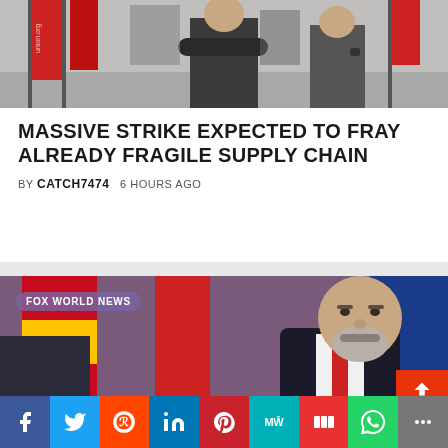[Figure (photo): Strike protesters with red flags and banners, people standing with arms crossed]
MASSIVE STRIKE EXPECTED TO FRAY ALREADY FRAGILE SUPPLY CHAIN
BY CATCH7474    6 HOURS AGO
[Figure (photo): Man in dark suit with red tie, bald head with grey beard, speaking at podium with flags in background. FOX WORLD NEWS badge overlay.]
RUSSIANS, UKRAINIAN ALLEGED SPIES FO...
f  Twitter  Reddit  in  Pinterest  MW  Mix  WhatsApp  Share